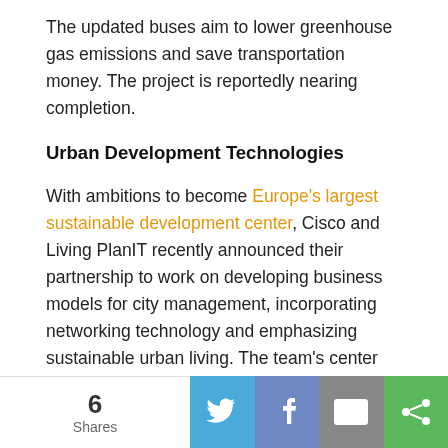The updated buses aim to lower greenhouse gas emissions and save transportation money. The project is reportedly nearing completion.
Urban Development Technologies
With ambitions to become Europe's largest sustainable development center, Cisco and Living PlanIT recently announced their partnership to work on developing business models for city management, incorporating networking technology and emphasizing sustainable urban living. The team's center for both technological innovation and research and development is PlanIT Valley, near Parendes in Northern Portugal. Cisco's involvement in the project chiefly focuses on information technology, communications design and architecture.
[Figure (infographic): Social share bar with count of 6 Shares, and buttons for Twitter (blue), Facebook (blue-purple), Email (grey), and Share (green)]